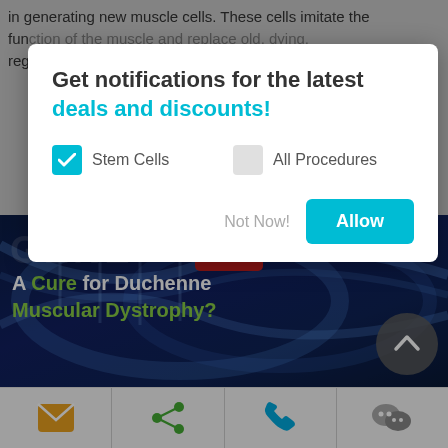in generating new muscle cells. These cells imitate the function of the muscle and replace old, dying, regene...
[Figure (screenshot): DNA double helix image background with 'GENE THINGS' text overlay and red label, and banner text 'A Cure for Duchenne Muscular Dystrophy?']
Symptoms of Muscular Dystrophy
[Figure (infographic): Bottom navigation bar with email, share, phone, and WeChat icons]
Get notifications for the latest deals and discounts!
[Checkbox: Stem Cells checked] [Checkbox: All Procedures unchecked]
Not Now!  Allow